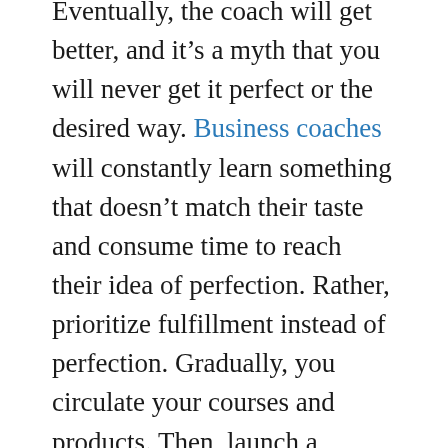Eventually, the coach will get better, and it's a myth that you will never get it perfect or the desired way. Business coaches will constantly learn something that doesn't match their taste and consume time to reach their idea of perfection. Rather, prioritize fulfillment instead of perfection. Gradually, you circulate your courses and products. Then, launch a creative yet basic website, which is susceptible to implementation if new variations appear in the market.
The fundamental goal of business coaching is to help clients grow their business...